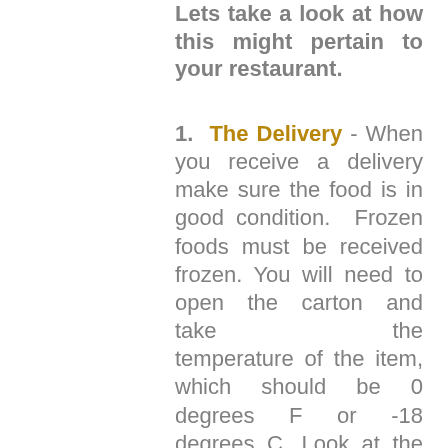Lets take a look at how this might pertain to your restaurant.
1. The Delivery - When you receive a delivery make sure the food is in good condition. Frozen foods must be received frozen. You will need to open the carton and take the temperature of the item, which should be 0 degrees F or -18 degrees C. Look at the bottom